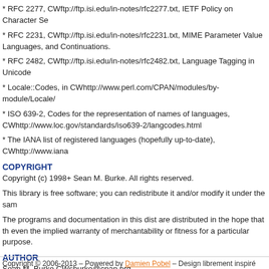* RFC 2277, CWftp://ftp.isi.edu/in-notes/rfc2277.txt, IETF Policy on Character Se
* RFC 2231, CWftp://ftp.isi.edu/in-notes/rfc2231.txt, MIME Parameter Value Languages, and Continuations.
* RFC 2482, CWftp://ftp.isi.edu/in-notes/rfc2482.txt, Language Tagging in Unicode
* Locale::Codes, in CWhttp://www.perl.com/CPAN/modules/by-module/Locale/
* ISO 639-2, Codes for the representation of names of languages, CWhttp://www.loc.gov/standards/iso639-2/langcodes.html
* The IANA list of registered languages (hopefully up-to-date), CWhttp://www.iana
COPYRIGHT
Copyright (c) 1998+ Sean M. Burke. All rights reserved.
This library is free software; you can redistribute it and/or modify it under the sam
The programs and documentation in this dist are distributed in the hope that th even the implied warranty of merchantability or fitness for a particular purpose.
AUTHOR
Sean M. Burke CWsburke@cpan.org
Copyright © 2006-2013 – Powered by Damien Pobel – Design librement inspiré